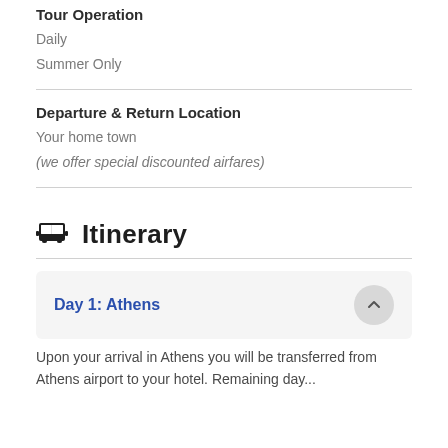Tour Operation
Daily
Summer Only
Departure & Return Location
Your home town
(we offer special discounted airfares)
Itinerary
Day 1: Athens
Upon your arrival in Athens you will be transferred from Athens airport to your hotel. Remaining day...